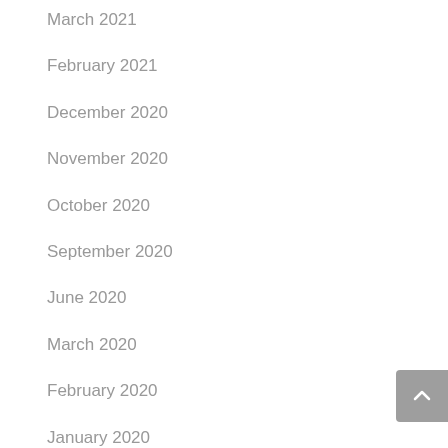March 2021
February 2021
December 2020
November 2020
October 2020
September 2020
June 2020
March 2020
February 2020
January 2020